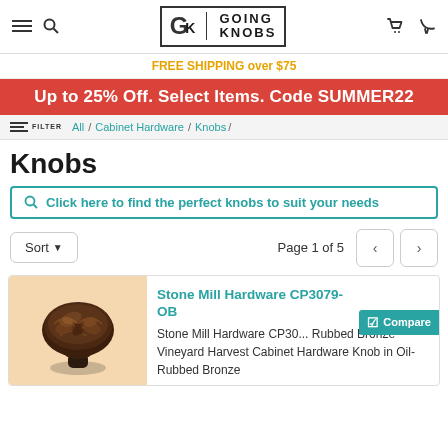Going Knobs — navigation header with logo, menu, search, phone, cart
FREE SHIPPING over $75
Up to 25% Off. Select Items. Code SUMMER22
All / Cabinet Hardware / Knobs /
Knobs
Click here to find the perfect knobs to suit your needs
Sort ▼   Page 1 of 5
[Figure (photo): Dark bronze ornate cabinet knob with vineyard/harvest leaf motif on peach background]
Stone Mill Hardware CP3079-OB

Stone Mill Hardware CP30... Rubbed Bronze Vineyard Harvest Cabinet Hardware Knob in Oil-Rubbed Bronze